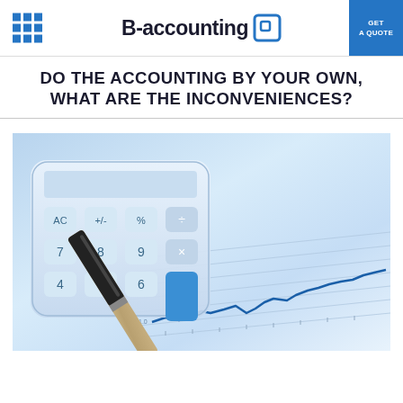B-accounting | GET A QUOTE
DO THE ACCOUNTING BY YOUR OWN, WHAT ARE THE INCONVENIENCES?
[Figure (photo): Close-up photo of a white calculator with a black and gold pen resting on top, placed on financial charts/graph paper showing a blue line chart trending upward]